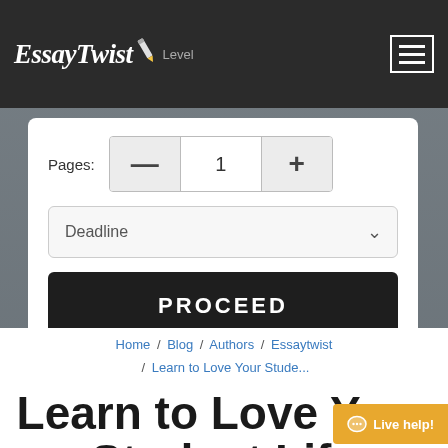EssayTwist | Level
[Figure (screenshot): Form card with pages stepper, deadline dropdown, and PROCEED button on a blurred hero background]
Pages: — 1 +
Deadline
PROCEED
Home / Blog / Authors / Essaytwist / Learn to Love Your Stude...
Learn to Love Your Student Life